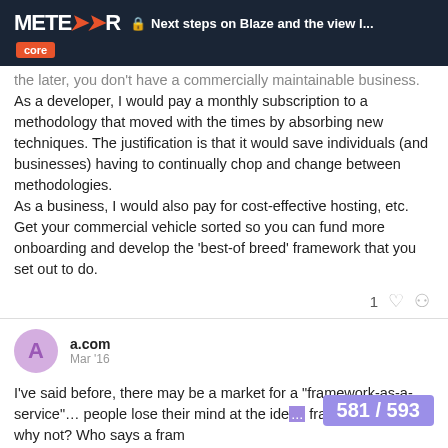METEOR | 🔒 Next steps on Blaze and the view l... | core
the later, you don't have a commercially maintainable business. As a developer, I would pay a monthly subscription to a methodology that moved with the times by absorbing new techniques. The justification is that it would save individuals (and businesses) having to continually chop and change between methodologies.
As a business, I would also pay for cost-effective hosting, etc. Get your commercial vehicle sorted so you can fund more onboarding and develop the 'best-of breed' framework that you set out to do.
1 ♡ 🔗
a.com  Mar '16
I've said before, there may be a market for a "framework-as-a-service"… people lose their mind at the ide... framework. But why not? Who says a fram...
581 / 593